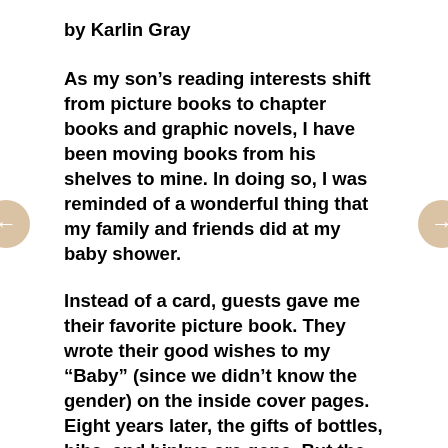by Karlin Gray
As my son’s reading interests shift from picture books to chapter books and graphic novels, I have been moving books from his shelves to mine. In doing so, I was reminded of a wonderful thing that my family and friends did at my baby shower.
Instead of a card, guests gave me their favorite picture book. They wrote their good wishes to my “Baby” (since we didn’t know the gender) on the inside cover pages. Eight years later, the gifts of bottles, bibs, and binkys are gone. But the picture books are still here.
At some point during those early sleep-deprived